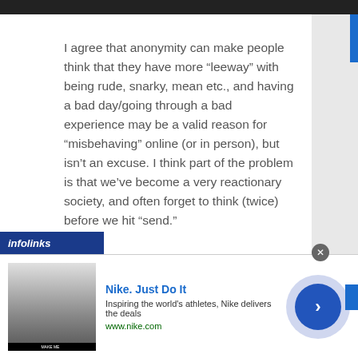I agree that anonymity can make people think that they have more “leeway” with being rude, snarky, mean etc., and having a bad day/going through a bad experience may be a valid reason for “misbehaving” online (or in person), but isn’t an excuse. I think part of the problem is that we’ve become a very reactionary society, and often forget to think (twice) before we hit “send.”

I wonder how many people take themselves of the grid at those times when they’re in a
[Figure (screenshot): Infolinks advertisement banner for Nike showing Nike. Just Do It headline, description text, thumbnail image, and circular arrow button]